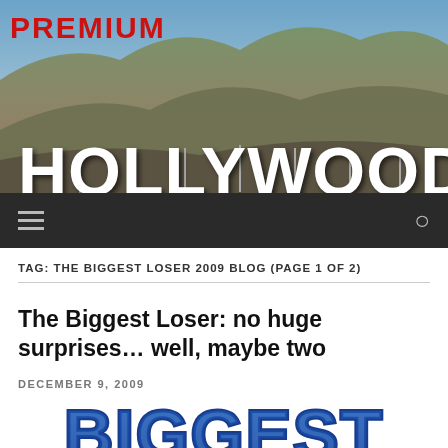[Figure (photo): Hollywood sign on hillside with 'PREMIUM' text in red at top left, navigation bar with hamburger menu and search icon below]
PREMIUM
TAG: THE BIGGEST LOSER 2009 BLOG (PAGE 1 OF 2)
The Biggest Loser: no huge surprises… well, maybe two
DECEMBER 9, 2009
[Figure (logo): The Biggest Loser show logo — 'THE BIGGEST' text in blue and white block letters, partially cropped at bottom of page]